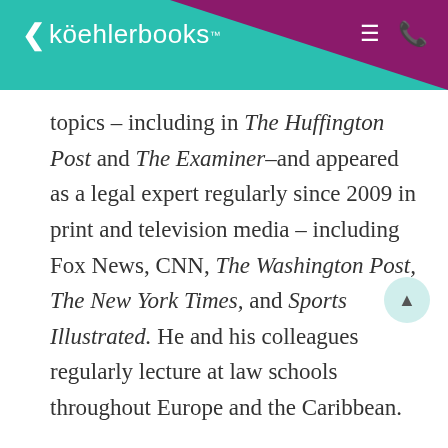köehlerbooks
topics – including in The Huffington Post and The Examiner–and appeared as a legal expert regularly since 2009 in print and television media – including Fox News, CNN, The Washington Post, The New York Times, and Sports Illustrated. He and his colleagues regularly lecture at law schools throughout Europe and the Caribbean.